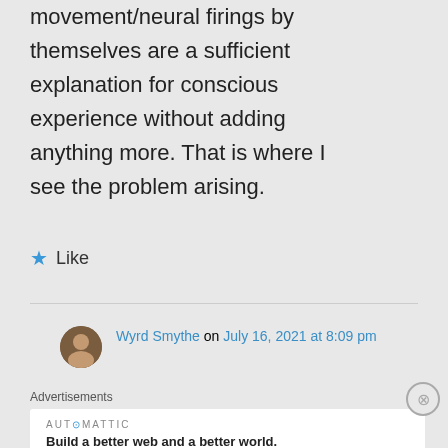movement/neural firings by themselves are a sufficient explanation for conscious experience without adding anything more. That is where I see the problem arising.
Like
Wyrd Smythe on July 16, 2021 at 8:09 pm
Advertisements
AUTOMATTIC
Build a better web and a better world.